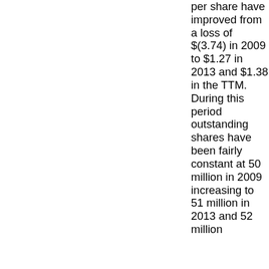per share have improved from a loss of $(3.74) in 2009 to $1.27 in 2013 and $1.38 in the TTM. During this period outstanding shares have been fairly constant at 50 million in 2009 increasing to 51 million in 2013 and 52 million